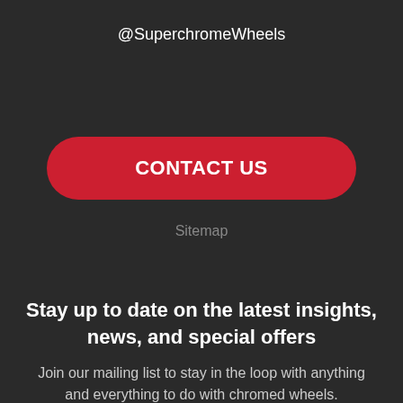@SuperchromeWheels
CONTACT US
Sitemap
Stay up to date on the latest insights, news, and special offers
Join our mailing list to stay in the loop with anything and everything to do with chromed wheels.